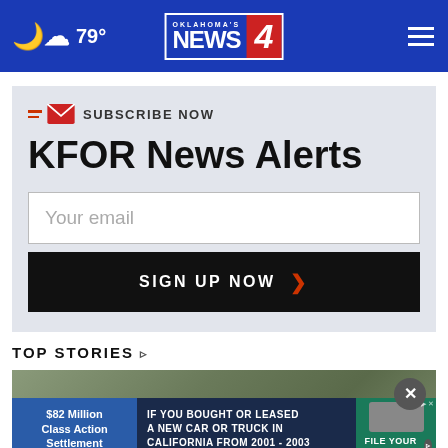79° | Oklahoma's News 4 | KFOR
KFOR News Alerts
SUBSCRIBE NOW
Your email
SIGN UP NOW
TOP STORIES ›
[Figure (screenshot): News story thumbnail image with play button and advertisement bar showing '$82 Million Class Action Settlement - IF YOU BOUGHT OR LEASED A NEW CAR OR TRUCK IN CALIFORNIA FROM 2001 - 2003 - FILE YOUR CLAIM NOW']